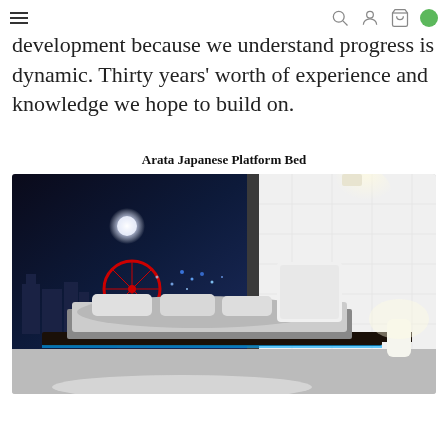Navigation bar with hamburger menu, search, user, cart icons and green dot
development because we understand progress is dynamic. Thirty years' worth of experience and knowledge we hope to build on.
Arata Japanese Platform Bed
[Figure (photo): A low Japanese platform bed with white upholstered headboard, grey bedding, dark wooden frame with integrated side tables, set in a modern bedroom with a large window overlooking a city at night with illuminated skyline. A white cylindrical lamp glows on the side table.]